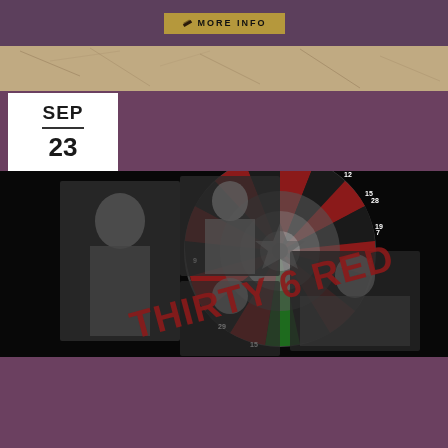[Figure (other): MORE INFO button on purple background bar]
[Figure (photo): Textured stone/concrete background strip]
SEP
23
[Figure (photo): Band promotional photo for Thirty 6 Red showing musicians performing with a roulette wheel graphic overlay and 'THIRTY 6 RED' text]
SIX STRING GRILL & STAGE PRESENTS:
THIRTY 6 RED
SHOW: 9:00 PM
Ages 21 and Up